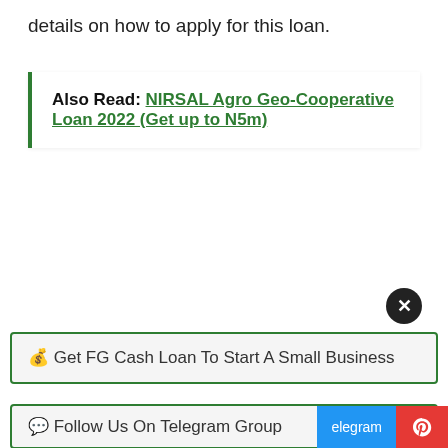details on how to apply for this loan.
Also Read:  NIRSAL Agro Geo-Cooperative Loan 2022 (Get up to N5m)
[Figure (other): Close button (X) circle icon]
💰 Get FG Cash Loan To Start A Small Business
💬 Follow Us On Telegram Group
[Figure (other): Social share bar with Telegram and Pinterest buttons]